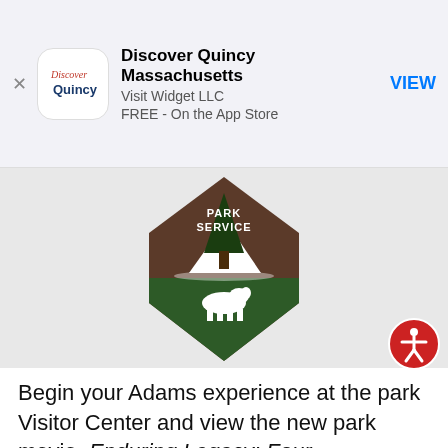[Figure (screenshot): App store advertisement banner for 'Discover Quincy Massachusetts' by Visit Widget LLC, FREE on the App Store, with a VIEW button]
[Figure (logo): National Park Service arrowhead logo showing a tree, mountains, and bison in brown and green]
[Figure (other): Red circular accessibility icon with a person figure]
Begin your Adams experience at the park Visitor Center and view the new park movie, Enduring Legacy: Four Generations of the Adams Family. Access to the three historic houses and Stone Library is by conducted tour only and available on a first-come, first-served basis. A trolley transports